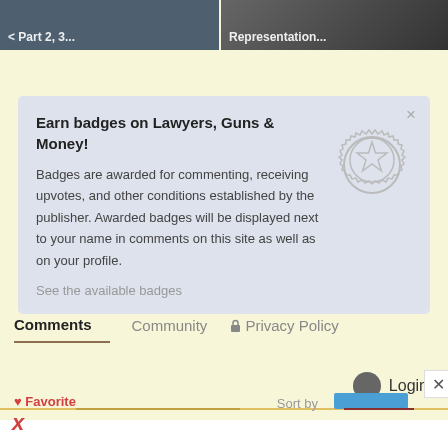[Figure (screenshot): Two cropped thumbnail images side by side at the top of the page. Left image has dark blue-gray background with white bold text partially visible. Right image shows shoes/feet on dark background with white bold text partially visible.]
Earn badges on Lawyers, Guns & Money!
Badges are awarded for commenting, receiving upvotes, and other conditions established by the publisher. Awarded badges will be displayed next to your name in comments on this site as well as on your profile.
See the available badges
Comments    Community    🔒 Privacy Policy
Login ▾
Sort by